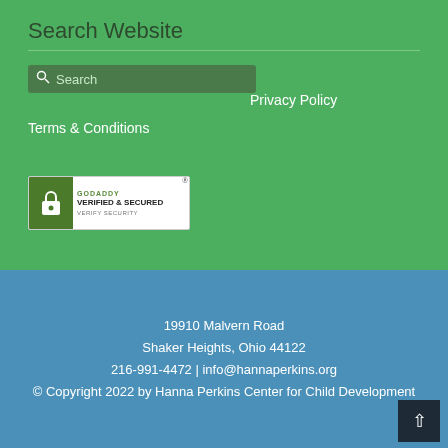Search Website
[Figure (screenshot): Search input box with magnifying glass icon and placeholder text 'Search']
Privacy Policy
Terms & Conditions
[Figure (logo): GoDaddy Verified & Secured badge with lock icon and 'Verify Security' text]
19910 Malvern Road
Shaker Heights, Ohio 44122
216-991-4472 | info@hannaperkins.org
© Copyright 2022 by Hanna Perkins Center for Child Development